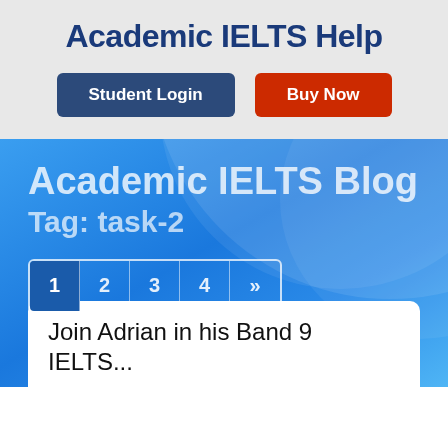Academic IELTS Help
Student Login
Buy Now
Academic IELTS Blog
Tag: task-2
1  2  3  4  »
Join Adrian in his Band 9 IELTS...